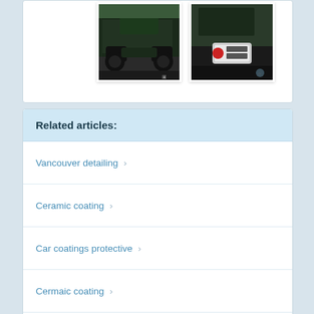[Figure (photo): Photo of a dark-colored truck/SUV, front-angled view on a street]
[Figure (photo): Photo of a car rear with a license plate, dark vehicle]
Related articles:
Vancouver detailing
Ceramic coating
Car coatings protective
Cermaic coating
Ceramic car polish
Car treatment protection